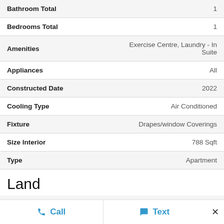| Property | Value |
| --- | --- |
| Bathroom Total | 1 |
| Bedrooms Total | 1 |
| Amenities | Exercise Centre, Laundry - In Suite |
| Appliances | All |
| Constructed Date | 2022 |
| Cooling Type | Air Conditioned |
| Fixture | Drapes/window Coverings |
| Size Interior | 788 Sqft |
| Type | Apartment |
Land
| Property | Value |
| --- | --- |
| Acreage | No |
Call   Text   ×